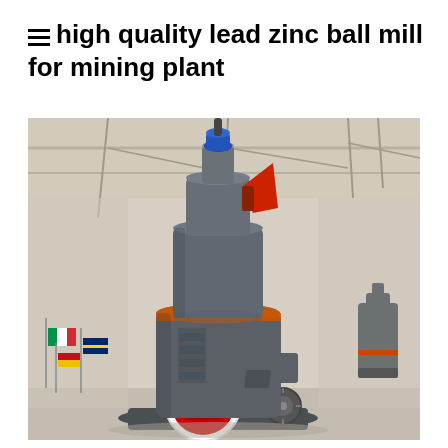high quality lead zinc ball mill for mining plant
[Figure (photo): A large industrial ball mill machine for mining, shown in a factory/warehouse setting. The machine is grey with red and orange accents, featuring a tiered cylindrical body with a blue-capped inlet at top, red hopper, orange band around the middle cylinder, and a prominent red square control panel on a circular white-bordered base. International flags are visible in the background left. Another smaller similar machine visible on the right.]